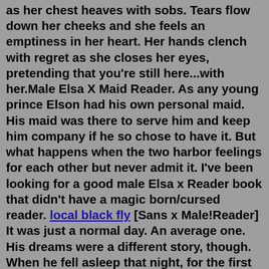as her chest heaves with sobs. Tears flow down her cheeks and she feels an emptiness in her heart. Her hands clench with regret as she closes her eyes, pretending that you're still here...with her.Male Elsa X Maid Reader. As any young prince Elson had his own personal maid. His maid was there to serve him and keep him company if he so chose to have it. But what happens when the two harbor feelings for each other but never admit it. I've been looking for a good male Elsa x Reader book that didn't have a magic born/cursed reader. local black fly [Sans x Male!Reader] It was just a normal day. An average one. His dreams were a different story, though. When he fell asleep that night, for the first time, he didn't feel like he fell asleep. This is how he met the monster named Sans. This is how he learned about Frisk. This is how he learned abou...Mergers. Male Elsa X Reader has been made a synonym of Elsa (Disney)/Reader. Works and bookmarks tagged with Male Elsa X Reader will show up in Elsa (Disney)/Reader's filter. [Male!Elsa x Reader x